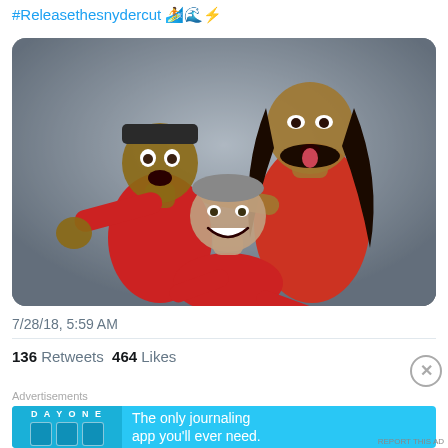#Releasethesnydercut 🏄🌊⚡
[Figure (photo): Three men in red shirts posing playfully against a gray background. One man on the left wearing a black cap is making a surprised face, the tall man in the center-right has long hair and is sticking out his tongue, and a third man crouches in front smiling.]
7/28/18, 5:59 AM
136 Retweets  464 Likes
Advertisements
[Figure (infographic): DAY ONE app advertisement banner on blue background: 'The only journaling app you'll ever need.']